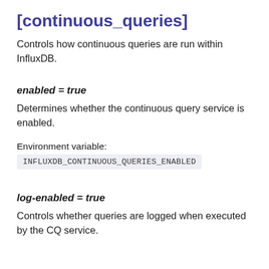[continuous_queries]
Controls how continuous queries are run within InfluxDB.
enabled = true
Determines whether the continuous query service is enabled.
Environment variable:
INFLUXDB_CONTINUOUS_QUERIES_ENABLED
log-enabled = true
Controls whether queries are logged when executed by the CQ service.